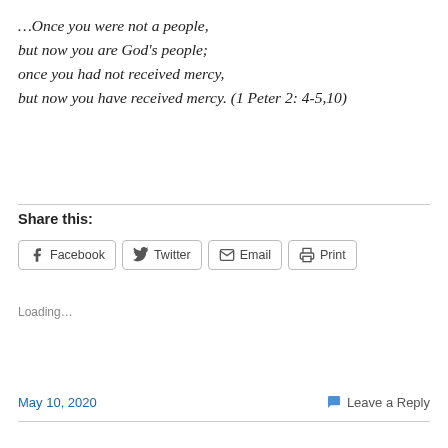…Once you were not a people, but now you are God's people; once you had not received mercy, but now you have received mercy. (1 Peter 2: 4-5,10)
Share this:
Loading...
May 10, 2020
Leave a Reply